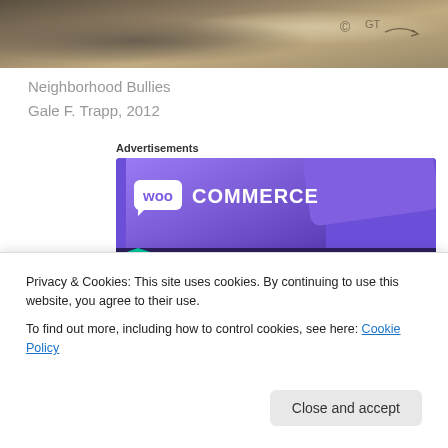[Figure (photo): Top portion of a photo showing textured stone or concrete surface with graffiti markings]
Neighborhood Bullies
Gale F. Trapp, 2012
Advertisements
[Figure (illustration): WooCommerce advertisement banner with purple background, teal and blue geometric shapes, WooCommerce logo, and text 'Turn your hobby into a business in 8 steps']
Privacy & Cookies: This site uses cookies. By continuing to use this website, you agree to their use.
To find out more, including how to control cookies, see here: Cookie Policy
Close and accept